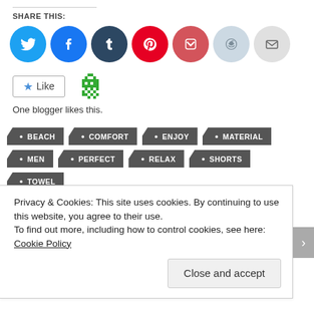SHARE THIS:
[Figure (infographic): Row of social media sharing icons: Twitter (blue), Facebook (blue), Tumblr (dark navy), Pinterest (red), Pocket (red), Reddit (light blue), Email (light gray)]
[Figure (infographic): Like button with star icon and a green pixel-art blogger avatar icon. Text: One blogger likes this.]
One blogger likes this.
BEACH
COMFORT
ENJOY
MATERIAL
MEN
PERFECT
RELAX
SHORTS
TOWEL
Privacy & Cookies: This site uses cookies. By continuing to use this website, you agree to their use. To find out more, including how to control cookies, see here: Cookie Policy
Close and accept